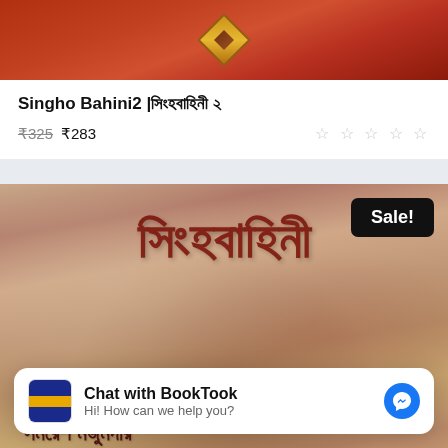[Figure (photo): Top portion of a book cover with reddish-orange background and a diamond/gem shape in the center]
Singho Bahini2 |সিংহবাহিনী ২
₹325 ₹283
[Figure (photo): Book cover for Singho Bahini (সিংহবাহিনী) by Samaresh Majumdar with Bengali script text overlay, warm earthy tones, with a 'Sale!' badge in top right corner]
Chat with BookTook
Hi! How can we help you?